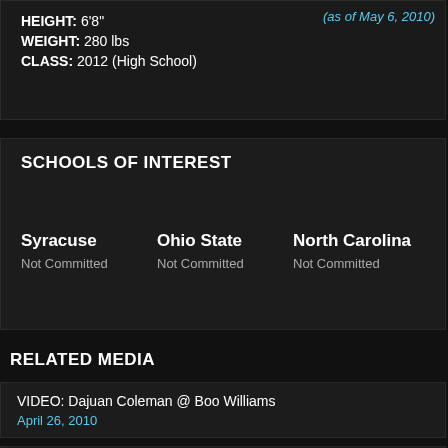HEIGHT: 6'8"
(as of May 6, 2010)
WEIGHT: 280 lbs
CLASS: 2012 (High School)
SCHOOLS OF INTEREST
Syracuse
Not Committed
Ohio State
Not Committed
North Carolina
Not Committed
RELATED MEDIA
VIDEO: Dajuan Coleman @ Boo Williams
April 26, 2010
VIDEO: A Day With Dajuan Coleman